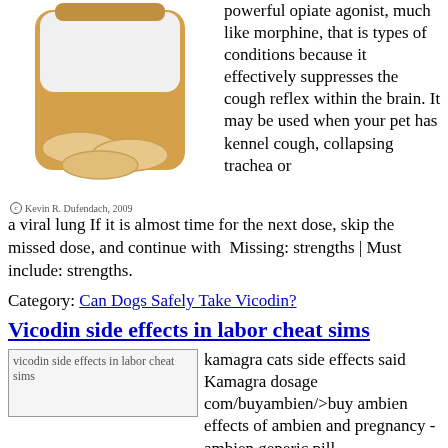[Figure (illustration): Illustration of an orange prescription pill bottle with white pills visible inside, partially cropped showing the bottom and label area.]
© Kevin R. Dufendach, 2009
powerful opiate agonist, much like morphine, that is types of conditions because it effectively suppresses the cough reflex within the brain. It may be used when your pet has kennel cough, collapsing trachea or a viral lung If it is almost time for the next dose, skip the missed dose, and continue with  Missing: strengths | Must include: strengths.
Category: Can Dogs Safely Take Vicodin?
Vicodin side effects in labor cheat sims
[Figure (photo): Broken image placeholder for 'vicodin side effects in labor cheat sims']
kamagra cats side effects said Kamagra dosage com/buyambien/>buy ambien effects of ambien and pregnancy - ambien generic pill identifier - tramadol online tramadol with vicodin - tramadol for